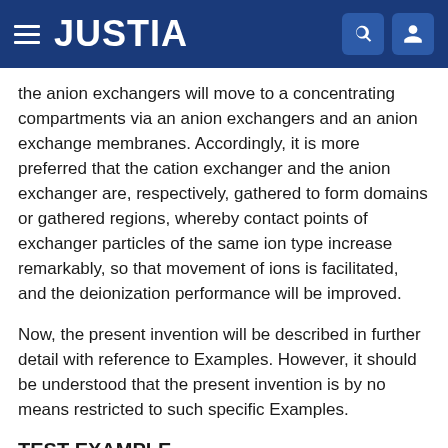JUSTIA
the anion exchangers will move to a concentrating compartments via an anion exchangers and an anion exchange membranes. Accordingly, it is more preferred that the cation exchanger and the anion exchanger are, respectively, gathered to form domains or gathered regions, whereby contact points of exchanger particles of the same ion type increase remarkably, so that movement of ions is facilitated, and the deionization performance will be improved.
Now, the present invention will be described in further detail with reference to Examples. However, it should be understood that the present invention is by no means restricted to such specific Examples.
TEST EXAMPLE